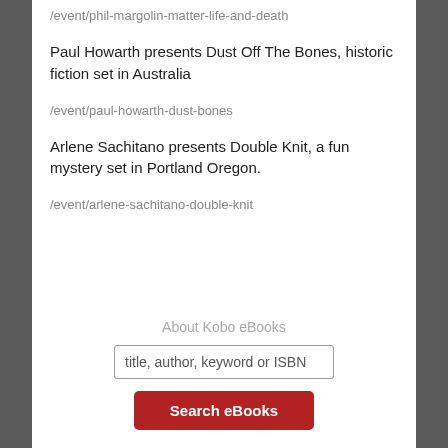/event/phil-margolin-matter-life-and-death
Paul Howarth presents Dust Off The Bones, historic fiction set in Australia
/event/paul-howarth-dust-bones
Arlene Sachitano presents Double Knit, a fun mystery set in Portland Oregon.
/event/arlene-sachitano-double-knit
About Kobo eBooks
title, author, keyword or ISBN
Search eBooks